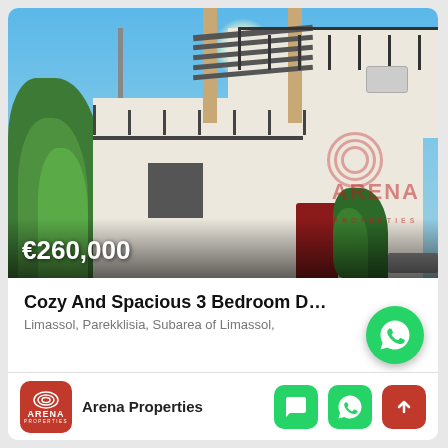[Figure (photo): Exterior photo of a two-storey white Mediterranean house with a pergola, iron balcony railing, red door, and lush greenery, in Limassol Cyprus. Price overlay shows €260,000. Arena Properties watermark visible on the right.]
Cozy And Spacious 3 Bedroom Detache…
Limassol, Parekklisia, Subarea of Limassol,
Arena Properties